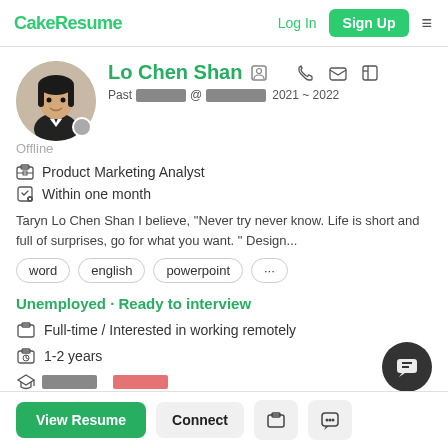CakeResume  Log In  Sign Up
Lo Chen Shan
Past [REDACTED] @[REDACTED] 2021 ~ 2022
Offline
Product Marketing Analyst
Within one month
Taryn Lo Chen Shan I believe, "Never try never know. Life is short and full of surprises, go for what you want. " Design...
word
english
powerpoint
...
Unemployed · Ready to interview
Full-time / Interested in working remotely
1-2 years
[REDACTED] [REDACTED]
View Resume  Connect